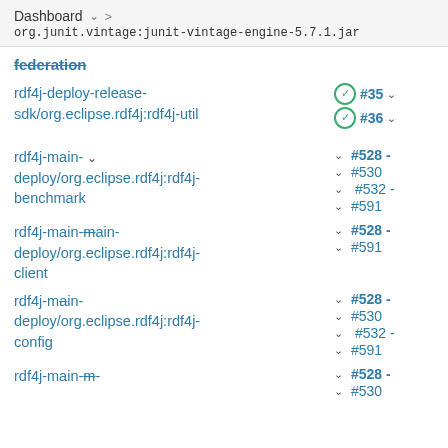Dashboard > org.junit.vintage:junit-vintage-engine-5.7.1.jar
federation
rdf4j-deploy-release-sdk/org.eclipse.rdf4j:rdf4j-util  #35 ✓  #36 ✓
rdf4j-main- deploy/org.eclipse.rdf4j:rdf4j-benchmark  #528 - #530  #532 - #591
rdf4j-main-deploy/org.eclipse.rdf4j:rdf4j-client  #528 - #591
rdf4j-main-deploy/org.eclipse.rdf4j:rdf4j-config  #528 - #530  #532 - #591
rdf4j-main-  #528 - #530